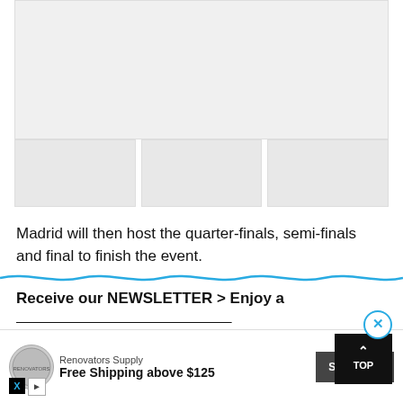[Figure (photo): Image placeholder at top of article page, gray rectangle]
[Figure (photo): Three thumbnail image placeholders in a row below the main image]
Madrid will then host the quarter-finals, semi-finals and final to finish the event.
However, Austria recently announced a national lockdown in response to surging Covid-19 cases there.
The lockdown will last at least 20 days, encompassing the entirety of the Davis Cup group stage.
Receive our NEWSLETTER > Enjoy a FREE ISSUE of Tennishead m...
[Figure (advertisement): Renovators Supply ad: Free Shipping above $125, Shop Now button]